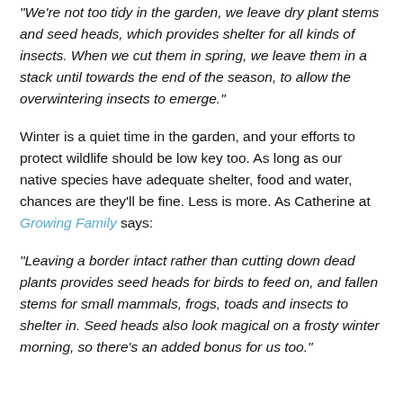"We're not too tidy in the garden, we leave dry plant stems and seed heads, which provides shelter for all kinds of insects. When we cut them in spring, we leave them in a stack until towards the end of the season, to allow the overwintering insects to emerge."
Winter is a quiet time in the garden, and your efforts to protect wildlife should be low key too. As long as our native species have adequate shelter, food and water, chances are they'll be fine. Less is more. As Catherine at Growing Family says:
"Leaving a border intact rather than cutting down dead plants provides seed heads for birds to feed on, and fallen stems for small mammals, frogs, toads and insects to shelter in. Seed heads also look magical on a frosty winter morning, so there's an added bonus for us too."